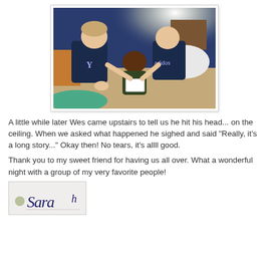[Figure (photo): Three children sitting on the floor in a room with blue walls, looking at something together. Two boys in dark shirts and a girl in the middle.]
A little while later Wes came upstairs to tell us he hit his head... on the ceiling.  When we asked what happened he sighed and said "Really, it's a long story..."  Okay then!  No tears, it's allll good.
Thank you to my sweet friend for having us all over.  What a wonderful night with a group of my very favorite people!
[Figure (photo): Partial view of a name tag or card with cursive text reading 'Sarah' or similar.]